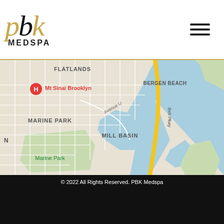[Figure (logo): PBK Medspa logo with gold italic script letters and MEDSPA in bold black below]
[Figure (map): Google Maps view showing Brooklyn neighborhoods: Flatlands, Bergen Beach, Marine Park, Mill Basin, with Mt Sinai Brooklyn hospital marker and Belt Pkwy visible]
© 2022 All Rights Reserved. PBK Medspa
Site Developed And Maintained By
GROWTH99